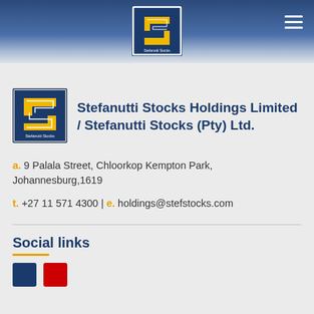[Figure (logo): Stefanutti Stocks logo in header — dark blue square with yellow S shape and white outline]
[Figure (logo): Stefanutti Stocks company logo — dark blue square with yellow S shape]
Stefanutti Stocks Holdings Limited / Stefanutti Stocks (Pty) Ltd.
a. 9 Palala Street, Chloorkop Kempton Park, Johannesburg,1619
t. +27 11 571 4300 | e. holdings@stefstocks.com
Social links